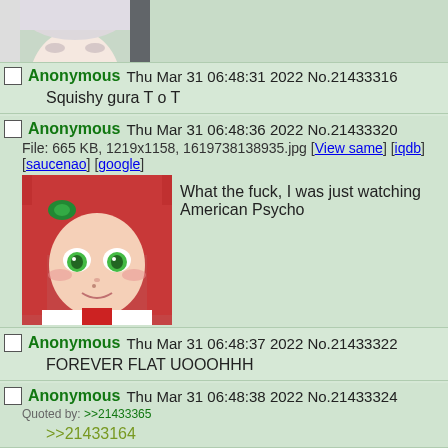[Figure (illustration): Cropped anime character face with white/silver hair, partial view at top of page]
Anonymous Thu Mar 31 06:48:31 2022 No.21433316
Squishy gura T o T
Anonymous Thu Mar 31 06:48:36 2022 No.21433320
File: 665 KB, 1219x1158, 1619738138935.jpg [View same] [iqdb] [saucenao] [google]
What the fuck, I was just watching American Psycho
[Figure (illustration): Anime character with red hair and green eyes, close-up face]
Anonymous Thu Mar 31 06:48:37 2022 No.21433322
FOREVER FLAT UOOOHHH
Anonymous Thu Mar 31 06:48:38 2022 No.21433324
Quoted by: >>21433365
>>21433164